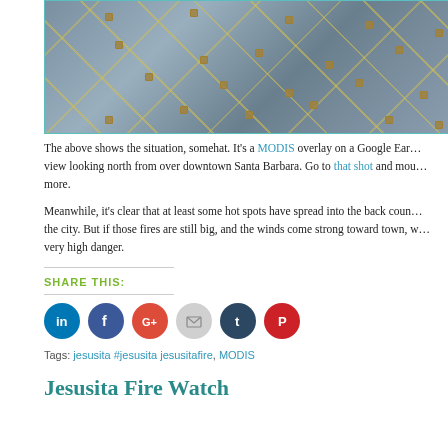[Figure (map): Aerial/satellite map view with MODIS overlay on Google Earth, looking north from over downtown Santa Barbara, with yellow grid lines and location markers.]
The above shows the situation, somehat. It's a MODIS overlay on a Google Earth view looking north from over downtown Santa Barbara. Go to that shot and more.
Meanwhile, it's clear that at least some hot spots have spread into the back country near the city. But if those fires are still big, and the winds come strong toward town, we are at very high danger.
SHARE THIS:
[Figure (infographic): Social share buttons: LinkedIn, Facebook, Google+, Email, Tumblr, Pinterest]
Tags: jesusita #jesusita jesusitafire, MODIS
Jesusita Fire Watch